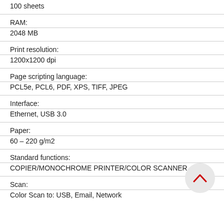100 sheets
RAM:
2048 MB
Print resolution:
1200x1200 dpi
Page scripting language:
PCL5e, PCL6, PDF, XPS, TIFF, JPEG
Interface:
Ethernet, USB 3.0
Paper:
60 – 220 g/m2
Standard functions:
COPIER/MONOCHROME PRINTER/COLOR SCANNER
Scan:
Color Scan to: USB, Email, Network